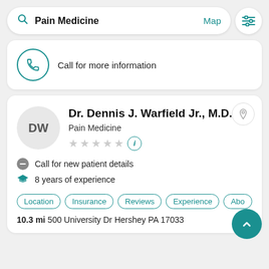Pain Medicine | Map
Call for more information
Dr. Dennis J. Warfield Jr., M.D.
Pain Medicine
Call for new patient details
8 years of experience
Location | Insurance | Reviews | Experience | Abo
10.3 mi 500 University Dr Hershey PA 17033